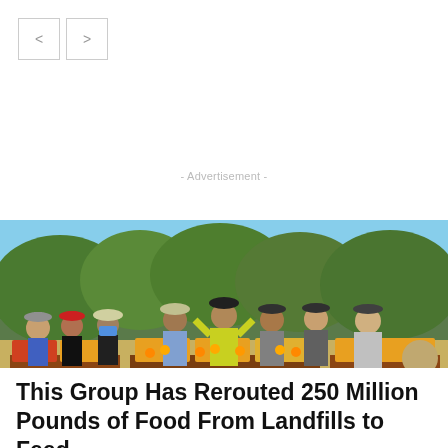< >
- Advertisement -
[Figure (photo): Group of volunteers standing behind tables of harvested oranges/produce in boxes, outdoors in a sunny orchard with green trees in the background. People are wearing hats and casual clothes; some wear masks.]
This Group Has Rerouted 250 Million Pounds of Food From Landfills to Feed